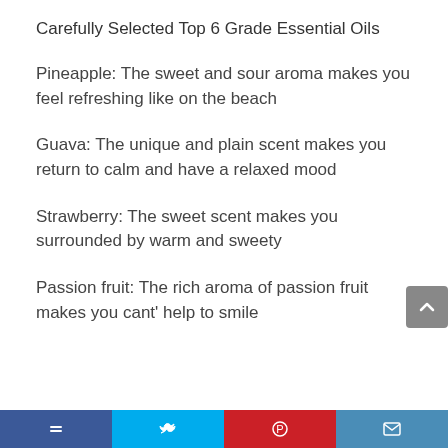Carefully Selected Top 6 Grade Essential Oils
Pineapple: The sweet and sour aroma makes you feel refreshing like on the beach
Guava: The unique and plain scent makes you return to calm and have a relaxed mood
Strawberry: The sweet scent makes you surrounded by warm and sweety
Passion fruit: The rich aroma of passion fruit makes you cant' help to smile
[Social share bar]